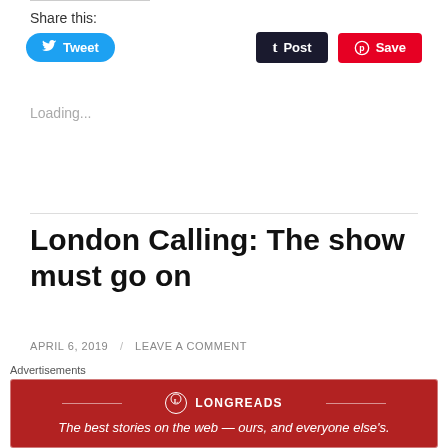Share this:
[Figure (infographic): Social sharing buttons: Tweet (blue), Post (dark), Save (red/Pinterest)]
Loading...
London Calling: The show must go on
APRIL 6, 2019 / LEAVE A COMMENT
After some discussion with the local producer about
Advertisements
[Figure (infographic): Longreads advertisement banner: red background with logo and tagline 'The best stories on the web — ours, and everyone else’s.']